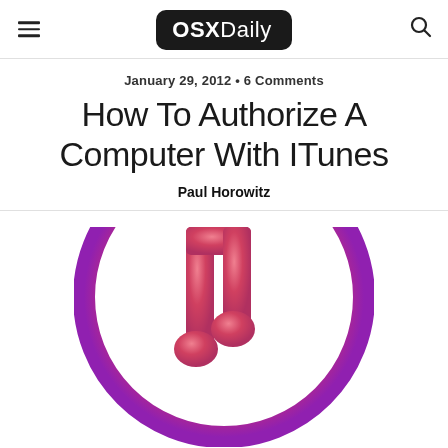OSXDaily
January 29, 2012 • 6 Comments
How To Authorize A Computer With ITunes
Paul Horowitz
[Figure (logo): iTunes app icon — circular gradient (pink to red to purple) with a white music note in the center, partially cropped at the bottom of the page]